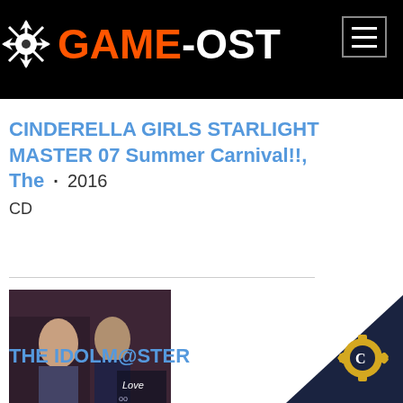[Figure (logo): GAME-OST website logo with orange GAME text, white -OST text, and a white snowflake/cross icon on black background]
CINDERELLA GIRLS STARLIGHT MASTER 07 Summer Carnival!!, The · 2016
CD
[Figure (photo): Album cover thumbnail for THE IDOLM@STER Love Destiny, showing illustrated anime characters]
THE IDOLM@STER